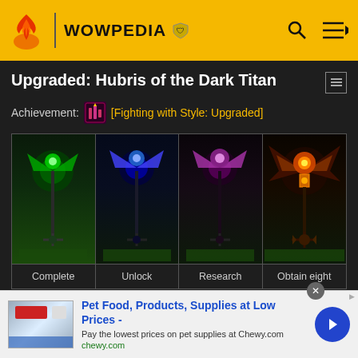WOWPEDIA
Upgraded: Hubris of the Dark Titan
Achievement: [Fighting with Style: Upgraded]
[Figure (screenshot): Four weapon appearance screenshots in a 4-column grid. Each shows a staff/polearm weapon on a green grassy background. From left to right: green-glowing weapon, blue-glowing weapon, purple-glowing weapon, orange/fire-glowing weapon (larger cell).]
Complete | Unlock | Research | Obtain eight